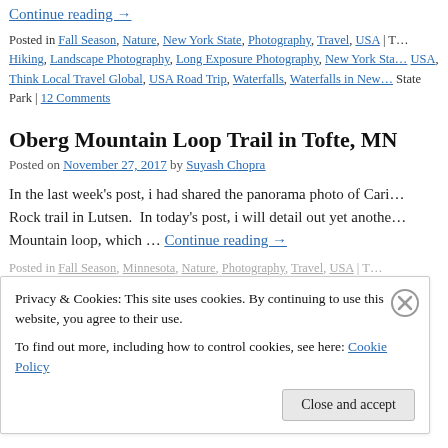Continue reading →
Posted in Fall Season, Nature, New York State, Photography, Travel, USA | T… Hiking, Landscape Photography, Long Exposure Photography, New York Sta… USA, Think Local Travel Global, USA Road Trip, Waterfalls, Waterfalls in New… State Park | 12 Comments
Oberg Mountain Loop Trail in Tofte, MN
Posted on November 27, 2017 by Suyash Chopra
In the last week's post, i had shared the panorama photo of Cari… Rock trail in Lutsen.  In today's post, i will detail out yet anothe… Mountain loop, which … Continue reading →
Posted in Fall Season, Minnesota, Nature, Photography, Travel, USA | T…
Privacy & Cookies: This site uses cookies. By continuing to use this website, you agree to their use.
To find out more, including how to control cookies, see here: Cookie Policy
Close and accept